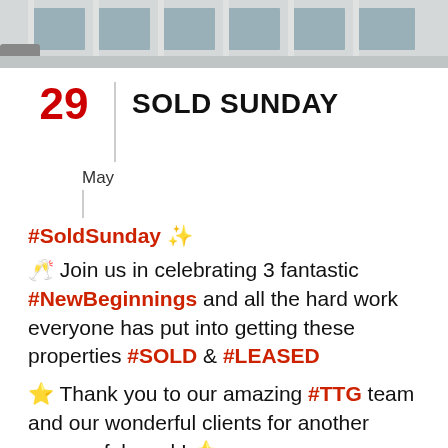[Figure (photo): Top portion of a building exterior with glass windows and columns, cars visible, cropped photo strip at top of page]
29 | SOLD SUNDAY
May
#SoldSunday ✨
🥂 Join us in celebrating 3 fantastic #NewBeginnings and all the hard work everyone has put into getting these properties #SOLD & #LEASED
⭐ Thank you to our amazing #TTG team and our wonderful clients for another successful week! 🌟